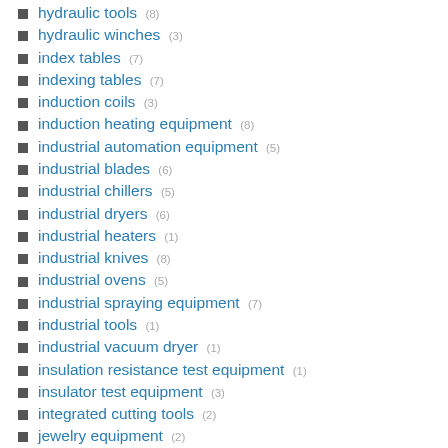hydraulic tools (8)
hydraulic winches (3)
index tables (7)
indexing tables (7)
induction coils (3)
induction heating equipment (8)
industrial automation equipment (5)
industrial blades (6)
industrial chillers (5)
industrial dryers (6)
industrial heaters (1)
industrial knives (8)
industrial ovens (5)
industrial spraying equipment (7)
industrial tools (1)
industrial vacuum dryer (1)
insulation resistance test equipment (1)
insulator test equipment (3)
integrated cutting tools (2)
jewelry equipment (2)
jewelry tools (2)
jig boring machines (1)
joints (8)